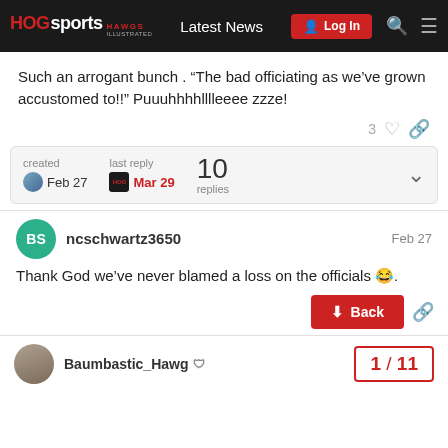HOGsports HAWGS Illustrated | Latest News | Log In
Such an arrogant bunch . “The bad officiating as we’ve grown accustomed to!!” Puuuhhhhlllleeee zzze!
created Feb 27 | last reply Mar 29 | 10 replies
ncschwartz3650  Feb 27
Thank God we’ve never blamed a loss on the officials 😂.
Baumbastic_Hawg 🛡️
1 / 11